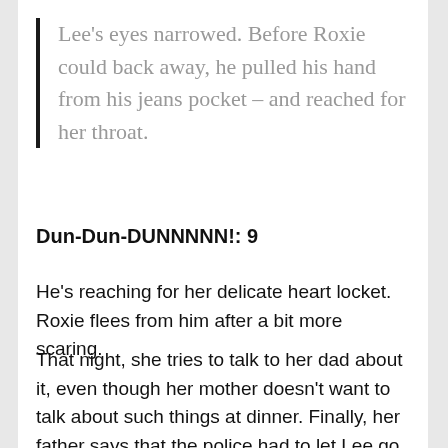Lee's eyes narrowed. Before Roxie could back away, he pulled his hand from his jeans pocket – and reached for her throat.
Dun-Dun-DUNNNNN!: 9
He's reaching for her delicate heart locket. Roxie flees from him after a bit more scaring.
That night, she tries to talk to her dad about it, even though her mother doesn't want to talk about such things at dinner. Finally, her father says that the police had to let Lee go because he had an alibi: his parents said he was at the charity fundraiser the whole night. The police talked to a